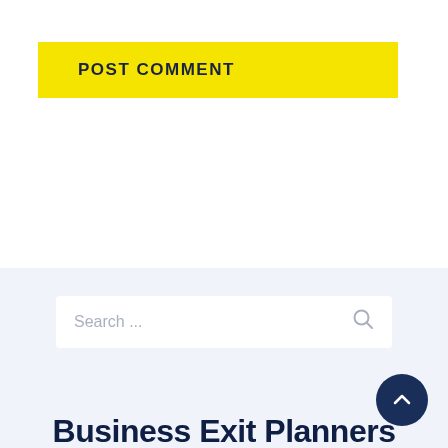POST COMMENT
Search ...
Business Exit Planners